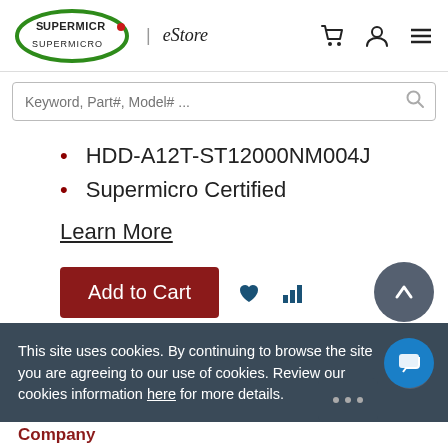[Figure (logo): Supermicro eStore logo with green oval, red dot, and italic eStore text]
Keyword, Part#, Model# ...
HDD-A12T-ST12000NM004J
Supermicro Certified
Learn More
Add to Cart
This site uses cookies. By continuing to browse the site you are agreeing to our use of cookies. Review our cookies information here for more details.
Company